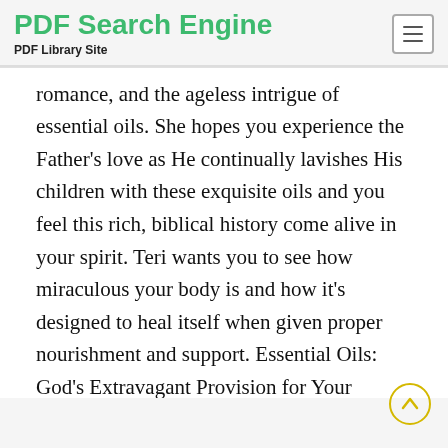PDF Search Engine
PDF Library Site
romance, and the ageless intrigue of essential oils. She hopes you experience the Father's love as He continually lavishes His children with these exquisite oils and you feel this rich, biblical history come alive in your spirit. Teri wants you to see how miraculous your body is and how it's designed to heal itself when given proper nourishment and support. Essential Oils: God's Extravagant Provision for Your Health offers practical how-to's that you can use immediately, including the use of oils for romance, balancing hormones,